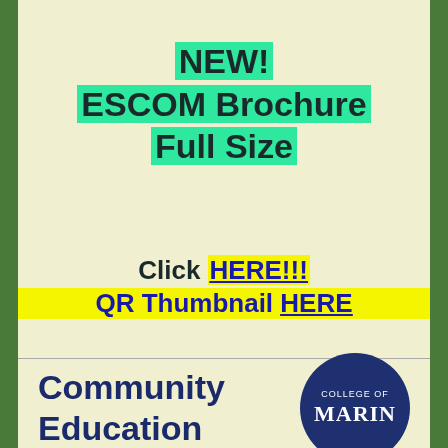NEW! ESCOM Brochure Full Size
Click HERE!!! QR Thumbnail HERE
[Figure (logo): College of Marin logo — dark navy circle with 'COLLEGE OF' in small caps and 'MARIN' in large serif text, white on navy background]
Community Education